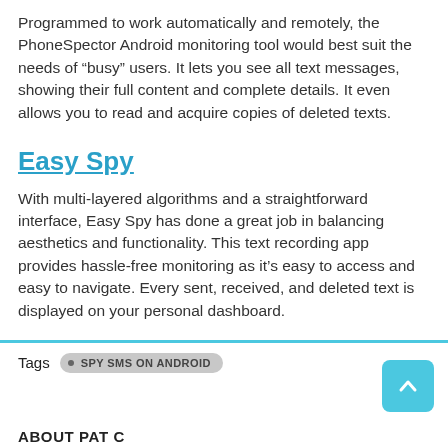Programmed to work automatically and remotely, the PhoneSpector Android monitoring tool would best suit the needs of “busy” users. It lets you see all text messages, showing their full content and complete details. It even allows you to read and acquire copies of deleted texts.
Easy Spy
With multi-layered algorithms and a straightforward interface, Easy Spy has done a great job in balancing aesthetics and functionality. This text recording app provides hassle-free monitoring as it’s easy to access and easy to navigate. Every sent, received, and deleted text is displayed on your personal dashboard.
Tags  SPY SMS ON ANDROID
ABOUT PAT C